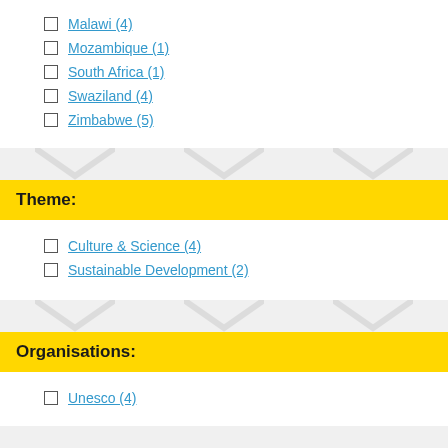Malawi (4)
Mozambique (1)
South Africa (1)
Swaziland (4)
Zimbabwe (5)
Theme:
Culture & Science (4)
Sustainable Development (2)
Organisations:
Unesco (4)